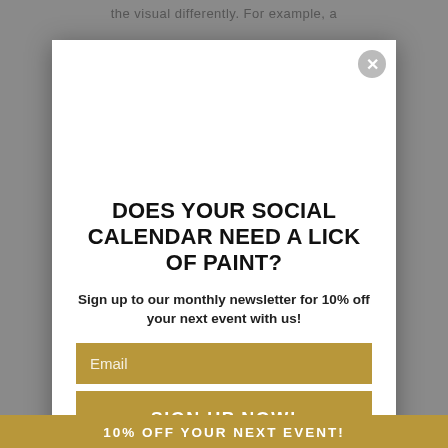the visual differently. For example, a
DOES YOUR SOCIAL CALENDAR NEED A LICK OF PAINT?
Sign up to our monthly newsletter for 10% off your next event with us!
Email
SIGN UP NOW!
10% OFF YOUR NEXT EVENT!